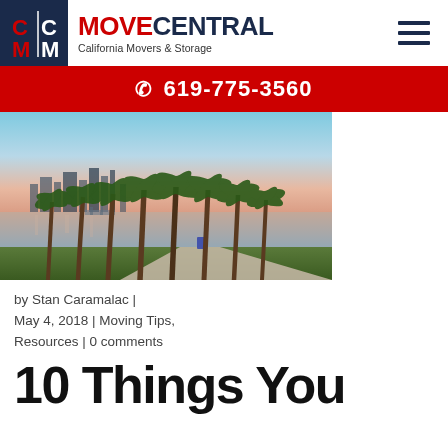MOVE CENTRAL — California Movers & Storage | 619-775-3560
[Figure (photo): Waterfront park scene with tall palm trees in a row, San Diego city skyline reflecting on the bay at sunset/dusk, walkway in foreground, pink and blue sky.]
by Stan Caramalac | May 4, 2018 | Moving Tips, Resources | 0 comments
10 Things You